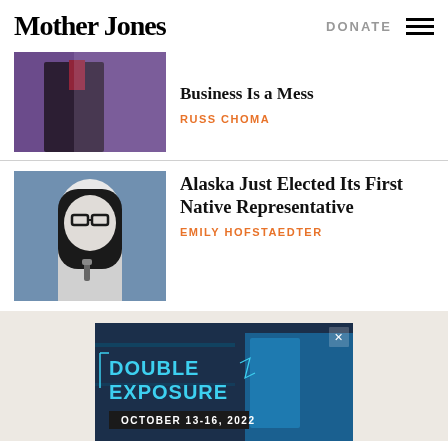Mother Jones
DONATE
[Figure (photo): Partial article image - person in suit with red tie at podium]
Business Is a Mess
RUSS CHOMA
[Figure (photo): Black and white photo of a woman with glasses and long dark hair speaking at a microphone]
Alaska Just Elected Its First Native Representative
EMILY HOFSTAEDTER
[Figure (photo): Advertisement for Double Exposure film festival, October 13-16, 2022, showing blue-tinted image of filmmakers]